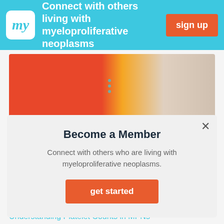[Figure (screenshot): Top banner with 'my' logo, text 'Connect with others living with myeloproliferative neoplasms', and orange 'sign up' button]
[Figure (photo): Article image with red/orange gradient background, three teal dots, and partial text 'What People With' with a white-haired elderly woman on the right side]
Become a Member
Connect with others who are living with myeloproliferative neoplasms.
get started
has approved a second COVID-19 booster shot...
read article >
Understanding Platelet Counts in MPNs